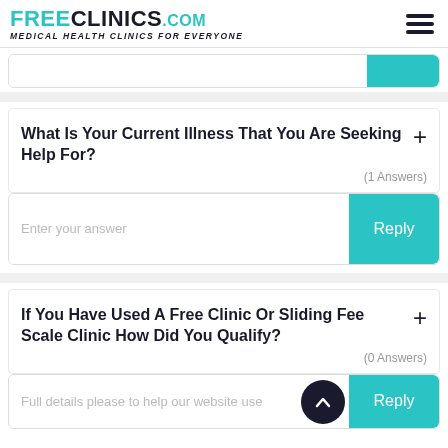FREECLINICS.COM — Medical Health Clinics For Everyone
What Is Your Current Illness That You Are Seeking Help For?
(1 Answers)
Enter your answer
If You Have Used A Free Clinic Or Sliding Fee Scale Clinic How Did You Qualify?
(0 Answers)
Full details please to help our website use